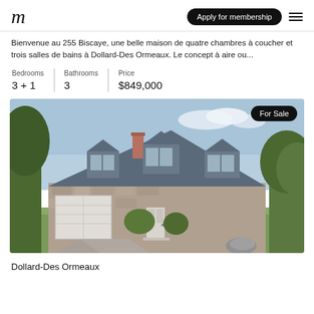m | Apply for membership
Bienvenue au 255 Biscaye, une belle maison de quatre chambres à coucher et trois salles de bains à Dollard-Des Ormeaux. Le concept à aire ou...
| Bedrooms | Bathrooms | Price |
| --- | --- | --- |
| 3 + 1 | 3 | $849,000 |
[Figure (photo): Exterior photo of a stone house with blue-grey roof, dormers, attached garage, and landscaped front yard. A 'For Sale' badge is overlaid in the top-right corner.]
Dollard-Des Ormeaux